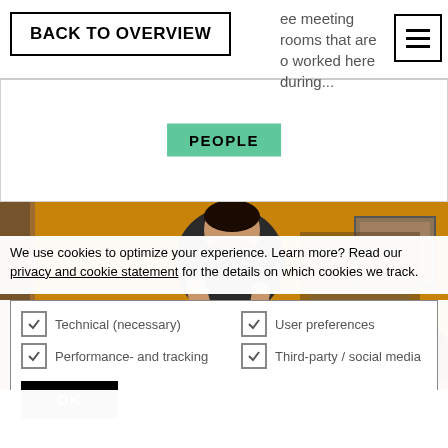BACK TO OVERVIEW | ee meeting rooms that are o worked here during...
PEOPLE
[Figure (photo): A man sitting among many toy figurines and action figure boxes on a table, in a warmly lit room with yellow walls.]
We use cookies to optimize your experience. Learn more? Read our privacy and cookie statement for the details on which cookies we track.
Technical (necessary) | User preferences | Performance- and tracking | Third-party / social media | OK
ors: Tim's toy collection